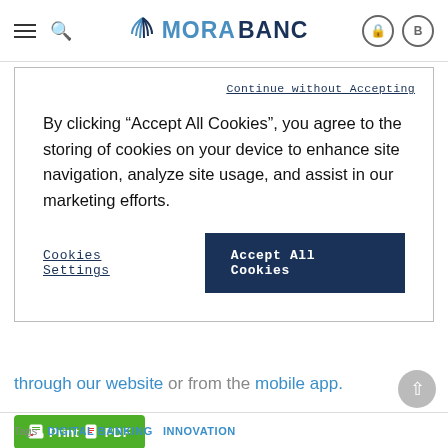MoraBanc navigation bar with hamburger menu, search icon, MoraBanc logo, lock and user icons
Continue without Accepting
By clicking “Accept All Cookies”, you agree to the storing of cookies on your device to enhance site navigation, analyze site usage, and assist in our marketing efforts.
Cookies Settings
Accept All Cookies
through our website or from the mobile app.
[Figure (screenshot): Green Print & PDF button]
Tags: DIGITAL BANKING  INNOVATION